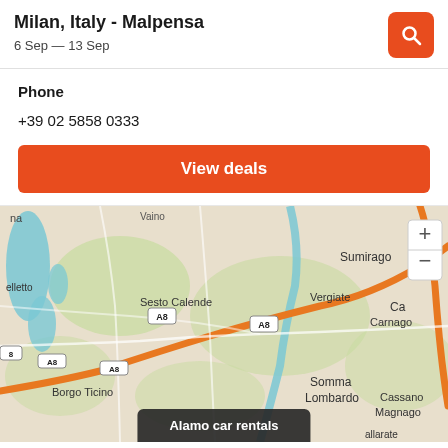Milan, Italy - Malpensa
6 Sep — 13 Sep
Phone
+39 02 5858 0333
View deals
[Figure (map): Road map showing area around Malpensa airport, Milan, Italy. Visible locations include Sesto Calende, Vergiate, Sumirago, Carnago, Borgo Ticino, Somma Lombardo, Cassano Magnago. Motorway A8 shown with orange route highlight.]
Alamo car rentals